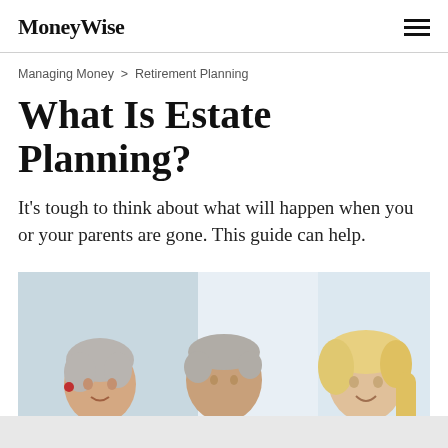MoneyWise
Managing Money > Retirement Planning
What Is Estate Planning?
It's tough to think about what will happen when you or your parents are gone. This guide can help.
[Figure (photo): Three people sitting at a table — an older woman with short grey hair wearing a white blouse, an older man in a light blue shirt looking down at papers, and a younger blonde woman in a white shirt, all appearing to discuss documents.]